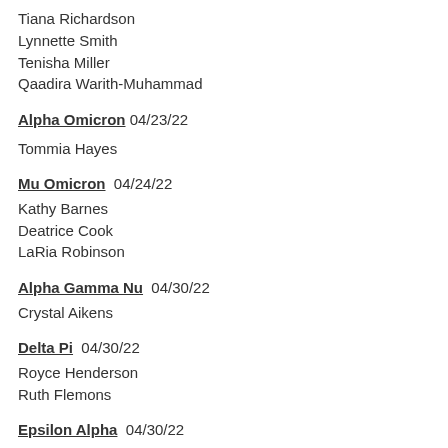Tiana Richardson
Lynnette Smith
Tenisha Miller
Qaadira Warith-Muhammad
Alpha Omicron 04/23/22
Tommia Hayes
Mu Omicron 04/24/22
Kathy Barnes
Deatrice Cook
LaRia Robinson
Alpha Gamma Nu 04/30/22
Crystal Aikens
Delta Pi 04/30/22
Royce Henderson
Ruth Flemons
Epsilon Alpha 04/30/22
Selina Carter